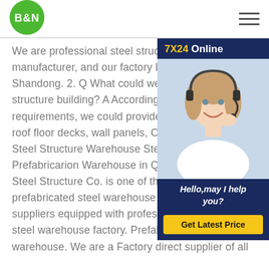B&N [logo] [hamburger menu]
[Figure (infographic): 7X24 Online chat widget with photo of smiling female customer service representative wearing headset, dark navy background, 'Hello, may I help you?' message and 'Get Latest Price' yellow button]
We are professional steel structure building manufacturer, and our factory located in Shandong. 2. Q What could we provide steel structure building? A According to customer requirements, we could provide the main roof floor decks, wall panels, China Prefabricated Steel Structure Warehouse Steel Structure Prefabricarion Warehouse in QingdaoQingdao KXD Steel Structure Co. is one of the leading China prefabricated steel warehouse manufacturers and suppliers equipped with professional prefabricated steel warehouse factory. Prefabricated steel warehouse. We are a Factory direct supplier of all